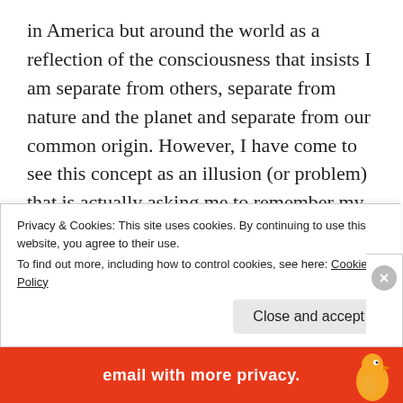in America but around the world as a reflection of the consciousness that insists I am separate from others, separate from nature and the planet and separate from our common origin. However, I have come to see this concept as an illusion (or problem) that is actually asking me to remember my oneness with all people, with all things. In order to remember, I must be willing to look at any dark places within myself and acknowledge that I am capable of using that darkness against myself or another. If I resist or deny this darkness, it will most certainly come back to separate us again someday. Only after accepting it will I
Privacy & Cookies: This site uses cookies. By continuing to use this website, you agree to their use.
To find out more, including how to control cookies, see here: Cookie Policy
Close and accept
[Figure (infographic): Bottom advertisement bar with orange/red background showing text 'email with more privacy.' and a duck icon on the right]